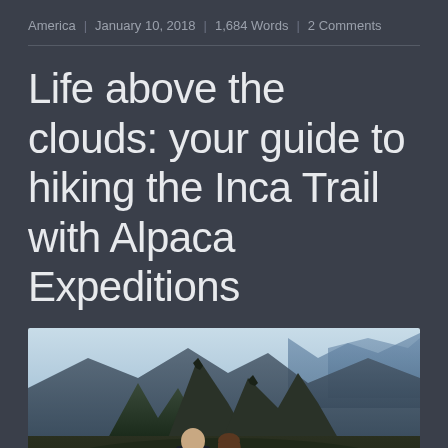America | January 10, 2018 | 1,684 Words | 2 Comments
Life above the clouds: your guide to hiking the Inca Trail with Alpaca Expeditions
[Figure (photo): Two people viewed from behind looking out at dramatic mountain peaks of Machu Picchu with layered blue mountain ranges in the background under a hazy sky.]